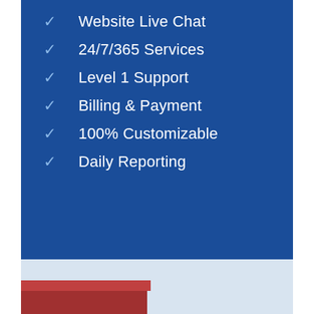✓ Website Live Chat
✓ 24/7/365 Services
✓ Level 1 Support
✓ Billing & Payment
✓ 100% Customizable
✓ Daily Reporting
[Figure (photo): Construction worker wearing an orange safety vest and white hard hat, smiling and looking at blueprints/plans, leaning against a red industrial structure with industrial buildings in background.]